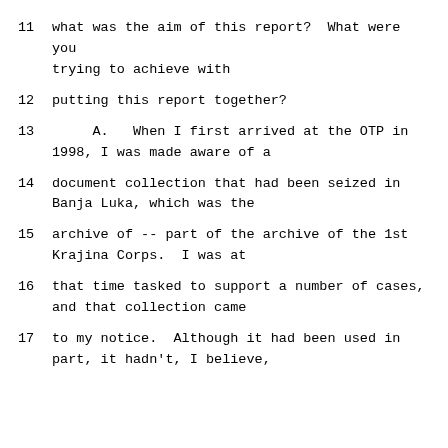11    what was the aim of this report?  What were you trying to achieve with
12    putting this report together?
13        A.   When I first arrived at the OTP in 1998, I was made aware of a
14    document collection that had been seized in Banja Luka, which was the
15    archive of -- part of the archive of the 1st Krajina Corps.  I was at
16    that time tasked to support a number of cases, and that collection came
17    to my notice.  Although it had been used in part, it hadn't, I believe,